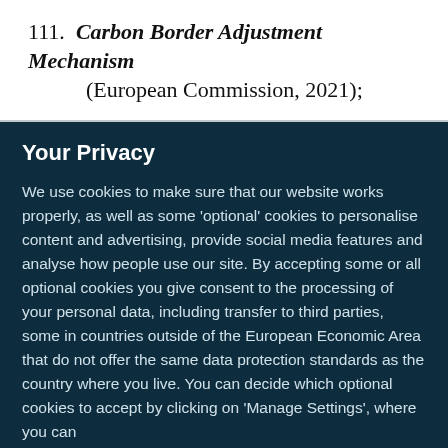111. Carbon Border Adjustment Mechanism (European Commission, 2021);
Your Privacy
We use cookies to make sure that our website works properly, as well as some ‘optional’ cookies to personalise content and advertising, provide social media features and analyse how people use our site. By accepting some or all optional cookies you give consent to the processing of your personal data, including transfer to third parties, some in countries outside of the European Economic Area that do not offer the same data protection standards as the country where you live. You can decide which optional cookies to accept by clicking on ‘Manage Settings’, where you can
Get the most important science stories of the day, free in your inbox.
Sign up for Nature Briefing